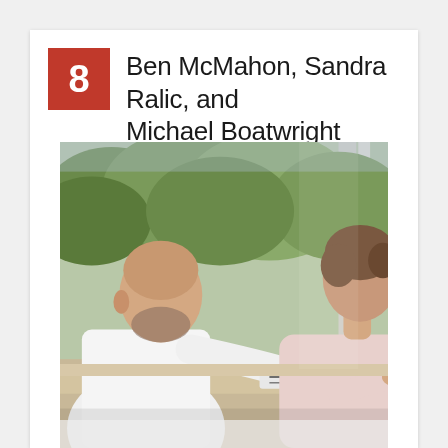8  Ben McMahon, Sandra Ralic, and Michael Boatwright
[Figure (photo): A male doctor in a white coat, partially bald with a beard, sits at a desk consulting with a young woman with short brown hair wearing a light pink top. They are near a large window with trees visible outside. The doctor is holding a clipboard or document and appears to be discussing it with the patient.]